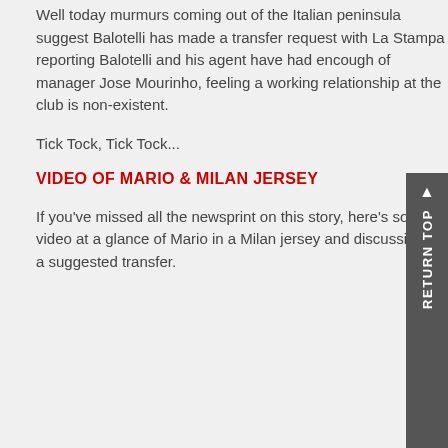Well today murmurs coming out of the Italian peninsula suggest Balotelli has made a transfer request with La Stampa reporting Balotelli and his agent have had enough of manager Jose Mourinho, feeling a working relationship at the club is non-existent.
Tick Tock, Tick Tock...
VIDEO OF MARIO & MILAN JERSEY
If you've missed all the newsprint on this story, here's some video at a glance of Mario in a Milan jersey and discussion on a suggested transfer.